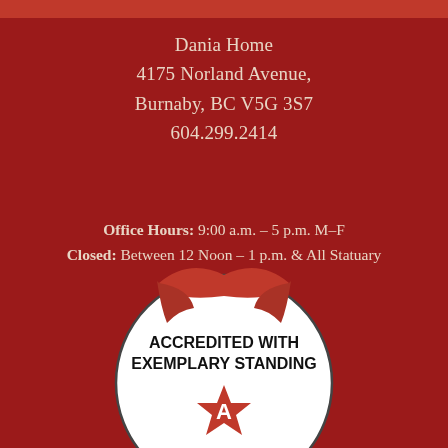Dania Home
4175 Norland Avenue,
Burnaby, BC V5G 3S7
604.299.2414
Office Hours: 9:00 a.m. – 5 p.m. M–F
Closed: Between 12 Noon – 1 p.m. & All Statuary Holidays
[Figure (logo): Accreditation badge: white circle with red ribbon/banner at top, bold text 'ACCREDITED WITH EXEMPLARY STANDING', and red stylized star/letter A logo below]